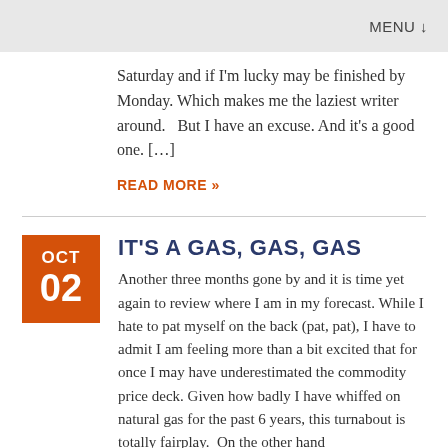MENU ↓
Saturday and if I'm lucky may be finished by Monday. Which makes me the laziest writer around.   But I have an excuse. And it's a good one. […]
READ MORE »
IT'S A GAS, GAS, GAS
Another three months gone by and it is time yet again to review where I am in my forecast. While I hate to pat myself on the back (pat, pat), I have to admit I am feeling more than a bit excited that for once I may have underestimated the commodity price deck. Given how badly I have whiffed on natural gas for the past 6 years, this turnabout is totally fairplay.  On the other hand